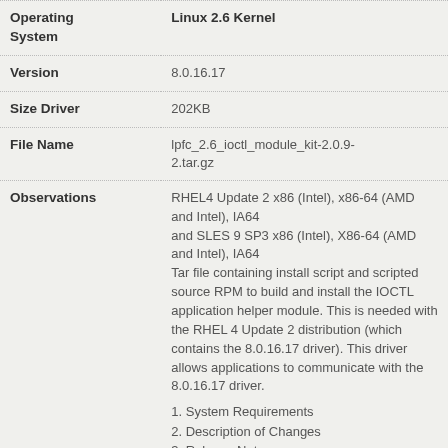| Field | Value |
| --- | --- |
| Operating System | Linux 2.6 Kernel |
| Version | 8.0.16.17 |
| Size Driver | 202KB |
| File Name | lpfc_2.6_ioctl_module_kit-2.0.9-2.tar.gz |
| Observations | RHEL4 Update 2 x86 (Intel), x86-64 (AMD and Intel), IA64 and SLES 9 SP3 x86 (Intel), X86-64 (AMD and Intel), IA64 Tar file containing install script and scripted source RPM to build and install the IOCTL application helper module. This is needed with the RHEL 4 Update 2 distribution (which contains the 8.0.16.17 driver). This driver allows applications to communicate with the 8.0.16.17 driver.
1. System Requirements
2. Description of Changes
3. Release Notes
3.1 Red Hat Enterprise Linux 'kernel-devel' Package Requirement
3.2 SuSE Linux Enterprise Server |